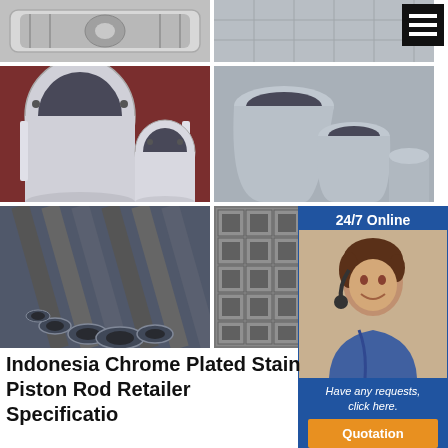[Figure (photo): Aluminum extrusion profile top view, grey background]
[Figure (photo): Aluminum plate or panel, grey surface]
[Figure (photo): Aluminum cylindrical tube components on red background]
[Figure (photo): Silver aluminum cylindrical cups/tubes of various sizes]
[Figure (photo): Multiple round aluminum pipes bundled together]
[Figure (photo): Stack of square aluminum tube sections]
[Figure (photo): Customer service agent with headset - 24/7 Online panel]
Indonesia Chrome Plated Stain Piston Rod Retailer Specificatio
Grade:6000 Series
Shape:Square,mickey mouse,compact,round shapes
Surface Treatment:Anodized
Length:Requirement